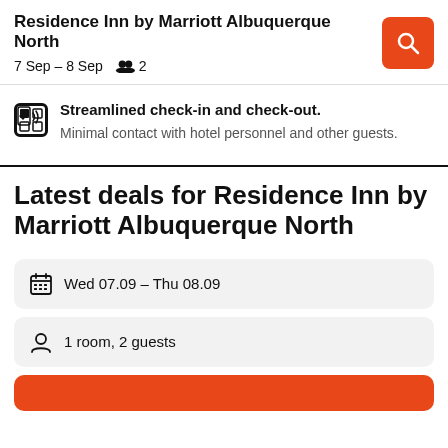Residence Inn by Marriott Albuquerque North  7 Sep – 8 Sep  2
Streamlined check-in and check-out.
Minimal contact with hotel personnel and other guests.
Latest deals for Residence Inn by Marriott Albuquerque North
Wed 07.09  –  Thu 08.09
1 room, 2 guests